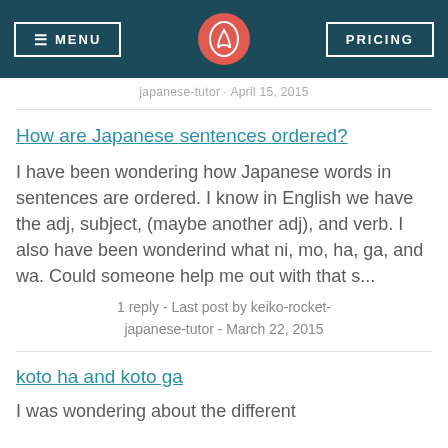MENU | [logo] | PRICING
japanese-tutor · April 15, 2015
How are Japanese sentences ordered?
I have been wondering how Japanese words in sentences are ordered. I know in English we have the adj, subject, (maybe another adj), and verb. I also have been wonderind what ni, mo, ha, ga, and wa. Could someone help me out with that s...
1 reply - Last post by keiko-rocket-japanese-tutor - March 22, 2015
koto ha and koto ga
I was wondering about the different